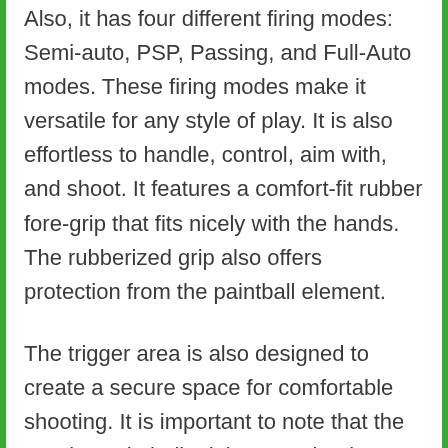Also, it has four different firing modes: Semi-auto, PSP, Passing, and Full-Auto modes. These firing modes make it versatile for any style of play. It is also effortless to handle, control, aim with, and shoot. It features a comfort-fit rubber fore-grip that fits nicely with the hands. The rubberized grip also offers protection from the paintball element.
The trigger area is also designed to create a secure space for comfortable shooting. It is important to note that the Empire Paintball Mini GS Marker is more convenient for small individuals, as its name implies. It is not too suitable for large hands to handle.